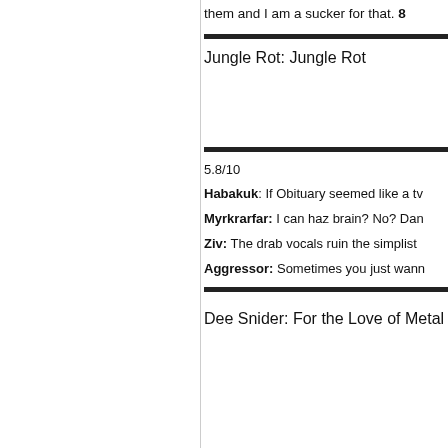them and I am a sucker for that. 8
Jungle Rot: Jungle Rot
5.8/10
Habakuk: If Obituary seemed like a tv
Myrkrarfar: I can haz brain? No? Dan
Ziv: The drab vocals ruin the simplist
Aggressor: Sometimes you just wann
Dee Snider: For the Love of Metal